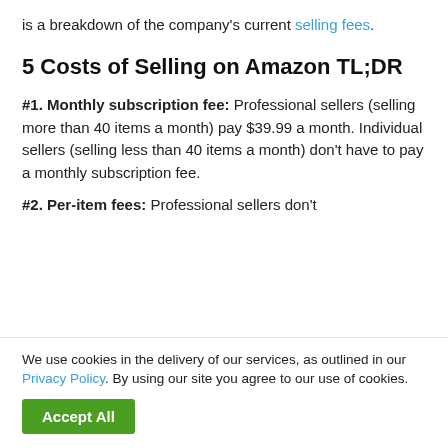is a breakdown of the company's current selling fees.
5 Costs of Selling on Amazon TL;DR
#1. Monthly subscription fee: Professional sellers (selling more than 40 items a month) pay $39.99 a month. Individual sellers (selling less than 40 items a month) don't have to pay a monthly subscription fee.
#2. Per-item fees: Professional sellers don't
We use cookies in the delivery of our services, as outlined in our Privacy Policy. By using our site you agree to our use of cookies.
Accept All